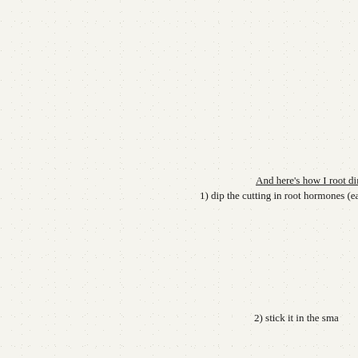And here's how I root directl
1) dip the cutting in root hormones (easy if
2) stick it in the sma